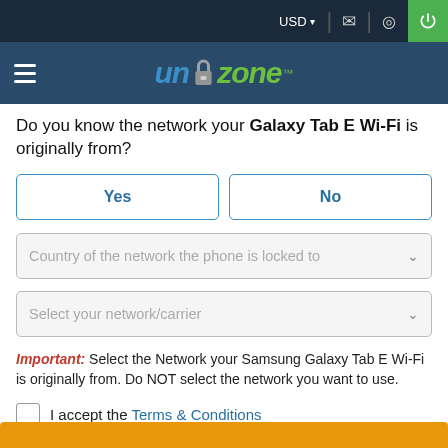USD ▾  [mail icon]  [location icon]  [power icon]
[Figure (logo): Unlockzone logo: 'un' in blue italic, padlock icon, 'zone' in green italic, with hamburger menu on left]
Do you know the network your Galaxy Tab E Wi-Fi is originally from?
Yes | No (buttons)
Country of the network the phone is locked to (dropdown)
Select your network/carrier (dropdown)
Important: Select the Network your Samsung Galaxy Tab E Wi-Fi is originally from. Do NOT select the network you want to use.
I accept the Terms & Conditions